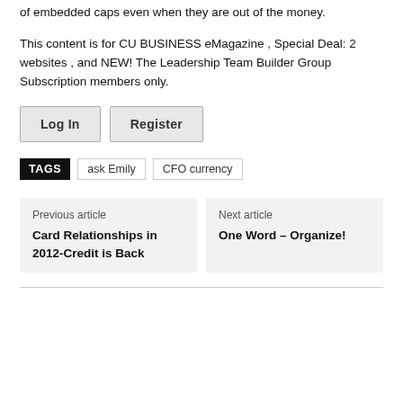of embedded caps even when they are out of the money.
This content is for CU BUSINESS eMagazine , Special Deal: 2 websites , and NEW! The Leadership Team Builder Group Subscription members only.
Log In
Register
TAGS  ask Emily  CFO currency
Previous article
Card Relationships in 2012-Credit is Back
Next article
One Word – Organize!